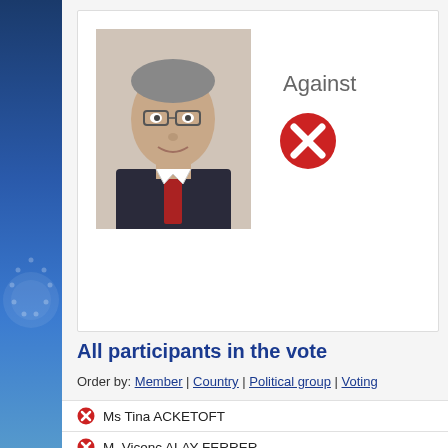[Figure (photo): Portrait photo of an older man with glasses wearing a dark suit and red tie]
Against
[Figure (illustration): Red circle with white X icon indicating a vote against]
All participants in the vote
Order by: Member | Country | Political group | Voting
Ms Tina ACKETOFT
M. Vicenç ALAY FERRER
Mr John AUSTIN
Mr Rony BARGETZE
M. Walter BARTOŠ